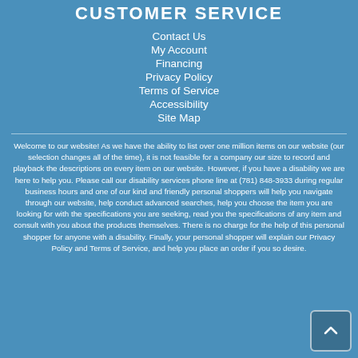CUSTOMER SERVICE
Contact Us
My Account
Financing
Privacy Policy
Terms of Service
Accessibility
Site Map
Welcome to our website! As we have the ability to list over one million items on our website (our selection changes all of the time), it is not feasible for a company our size to record and playback the descriptions on every item on our website. However, if you have a disability we are here to help you. Please call our disability services phone line at (781) 848-3933 during regular business hours and one of our kind and friendly personal shoppers will help you navigate through our website, help conduct advanced searches, help you choose the item you are looking for with the specifications you are seeking, read you the specifications of any item and consult with you about the products themselves. There is no charge for the help of this personal shopper for anyone with a disability. Finally, your personal shopper will explain our Privacy Policy and Terms of Service, and help you place an order if you so desire.